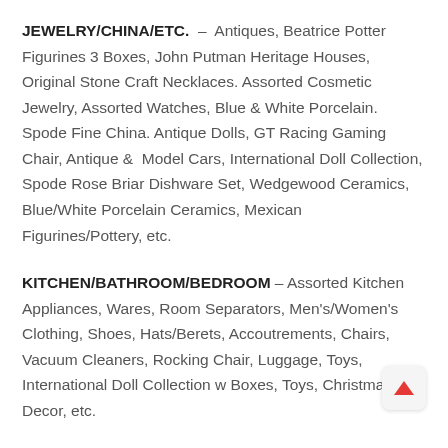JEWELRY/CHINA/ETC. – Antiques, Beatrice Potter Figurines 3 Boxes, John Putman Heritage Houses, Original Stone Craft Necklaces. Assorted Cosmetic Jewelry, Assorted Watches, Blue & White Porcelain. Spode Fine China. Antique Dolls, GT Racing Gaming Chair, Antique & Model Cars, International Doll Collection, Spode Rose Briar Dishware Set, Wedgewood Ceramics, Blue/White Porcelain Ceramics, Mexican Figurines/Pottery, etc.
KITCHEN/BATHROOM/BEDROOM – Assorted Kitchen Appliances, Wares, Room Separators, Men's/Women's Clothing, Shoes, Hats/Berets, Accoutrements, Chairs, Vacuum Cleaners, Rocking Chair, Luggage, Toys, International Doll Collection w Boxes, Toys, Christmas Decor, etc.